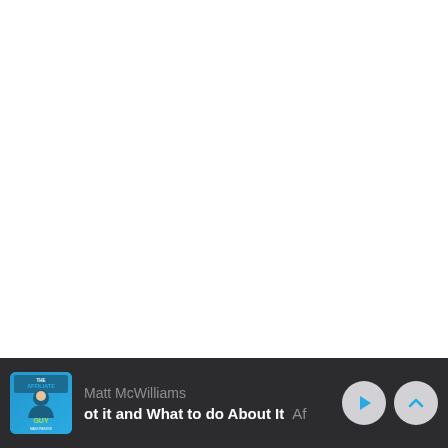[Figure (screenshot): White blank area taking up most of the page above the media player bar]
[Figure (screenshot): Podcast player bar at the bottom showing The Affiliate Guy podcast by Matt McWilliams with episode title partially visible 'ot it and What to do About It', play button and chevron up button on the right]